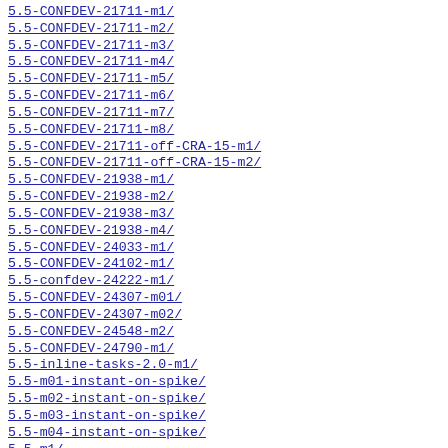5.5-CONFDEV-21711-m1/
5.5-CONFDEV-21711-m2/
5.5-CONFDEV-21711-m3/
5.5-CONFDEV-21711-m4/
5.5-CONFDEV-21711-m5/
5.5-CONFDEV-21711-m6/
5.5-CONFDEV-21711-m7/
5.5-CONFDEV-21711-m8/
5.5-CONFDEV-21711-off-CRA-15-m1/
5.5-CONFDEV-21711-off-CRA-15-m2/
5.5-CONFDEV-21938-m1/
5.5-CONFDEV-21938-m2/
5.5-CONFDEV-21938-m3/
5.5-CONFDEV-21938-m4/
5.5-CONFDEV-24033-m1/
5.5-CONFDEV-24102-m1/
5.5-confdev-24222-m1/
5.5-CONFDEV-24307-m01/
5.5-CONFDEV-24307-m02/
5.5-CONFDEV-24548-m2/
5.5-CONFDEV-24790-m1/
5.5-inline-tasks-2.0-m1/
5.5-m01-instant-on-spike/
5.5-m02-instant-on-spike/
5.5-m03-instant-on-spike/
5.5-m04-instant-on-spike/
5.5-m1/
5.5-m15/
5.5-m19/
5.5-m20/